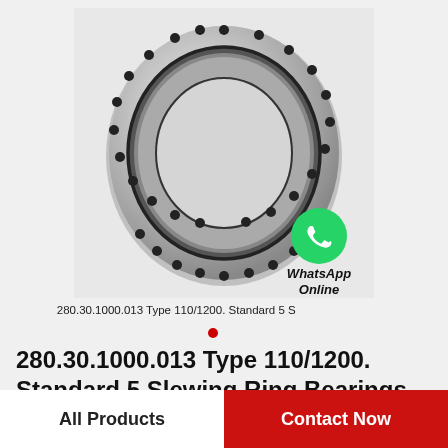[Figure (photo): Slewing ring bearing (annular steel bearing with bolt holes), product photo on light gray background. A WhatsApp Online badge appears in the lower right of the image area.]
280.30.1000.013 Type 110/1200. Standard 5 S
280.30.1000.013 Type 110/1200. Standard 5 Slewing Ring Bearings
All Products
Contact Now